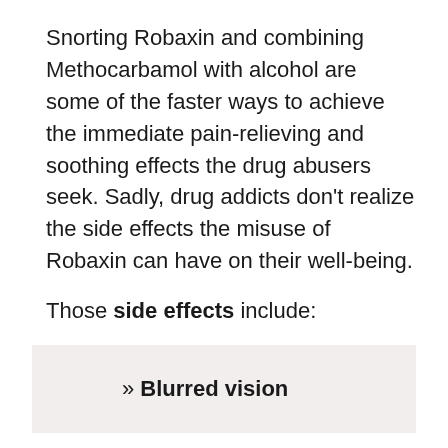Snorting Robaxin and combining Methocarbamol with alcohol are some of the faster ways to achieve the immediate pain-relieving and soothing effects the drug abusers seek. Sadly, drug addicts don't realize the side effects the misuse of Robaxin can have on their well-being.
Those side effects include:
» Blurred vision
People with Robaxin abuse have tightly constricted pupils. This results in pupils not responding to low light, thus impairing vision. Blurred vision is due to constriction of blood